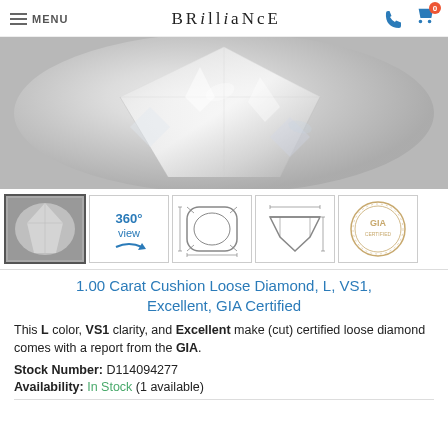MENU | BRILLIANCE
[Figure (photo): Close-up macro photo of a cushion cut diamond showing facets with silver/white sparkle reflections]
[Figure (photo): Thumbnail row: diamond photo, 360° view icon, cushion cut top-view diagram, diamond side profile diagram, GIA seal/logo]
1.00 Carat Cushion Loose Diamond, L, VS1, Excellent, GIA Certified
This L color, VS1 clarity, and Excellent make (cut) certified loose diamond comes with a report from the GIA.
Stock Number: D114094277
Availability: In Stock (1 available)